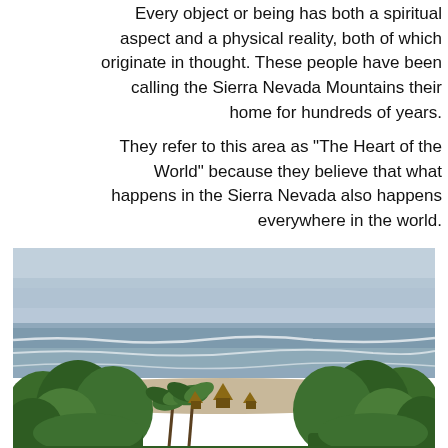Every object or being has both a spiritual aspect and a physical reality, both of which originate in thought. These people have been calling the Sierra Nevada Mountains their home for hundreds of years.
They refer to this area as "The Heart of the World" because they believe that what happens in the Sierra Nevada also happens everywhere in the world.
[Figure (photo): Aerial view of a tropical coastline with ocean waves, a sandy beach, palm trees and dense green vegetation, with small thatched-roof structures visible among the trees.]